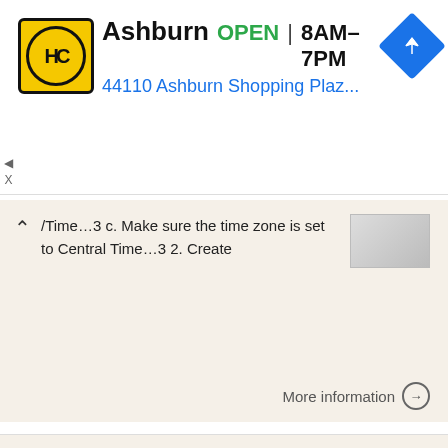[Figure (screenshot): Ad banner for HC Ashburn location showing logo, OPEN status, hours 8AM-7PM, address 44110 Ashburn Shopping Plaz..., and navigation icon]
/Time…3 c. Make sure the time zone is set to Central Time…3 2. Create
More information →
Using Remote Desktop to access your Office Computer or Faculty Remote Desktop Server August, 2005 This
Using Remote Desktop to access your Office Computer or Faculty Remote Desktop Server August, 2005 This document consists of two main parts and an addendum. The first part will be the steps required to
More information →